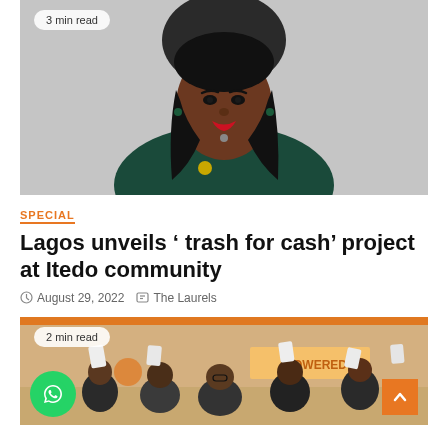[Figure (photo): Portrait photo of a woman in a dark green outfit seated in a black office chair against a light grey background. She has long dark hair, red lipstick, and is looking directly at the camera.]
3 min read
SPECIAL
Lagos unveils ‘ trash for cash’ project at Itedo community
August 29, 2022   The Laurels
[Figure (photo): Group photo of people holding up papers or certificates at an event. A banner with 'POWERED' text is visible in the background. The scene appears to be an awards or community event.]
2 min read